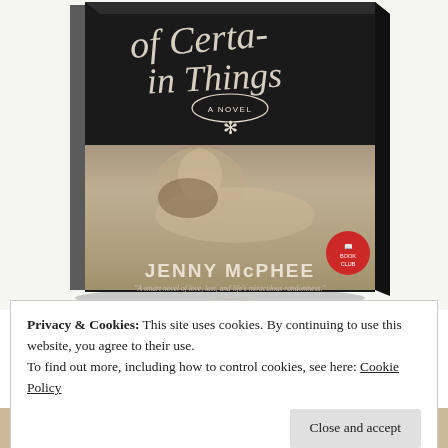[Figure (photo): Book cover of a novel showing handwritten-style title text '...of Certain Things' with 'A NOVEL' label and a flower/asterisk decoration on black background, with a vintage sepia photo of a reclining woman, author name JENNY McPHEE in large capitals, and a quote: 'A smart novel of love, lust, and life's miraculous randomness.' —O magazine. A red Bookclub seal is in the lower right corner.]
Privacy & Cookies: This site uses cookies. By continuing to use this website, you agree to their use.
To find out more, including how to control cookies, see here: Cookie Policy
Close and accept